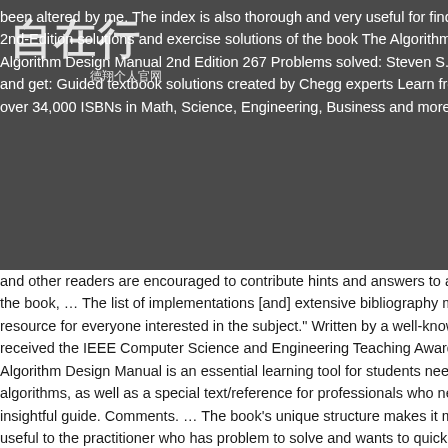been altered by me. The index is also thorough and very useful for finding 2nd-Edition solutions and exercise solutions of the book The Algorithm Algorithm Design Manual 2nd Edition 267 Problems solved: Steven S. S and get: Guided textbook solutions created by Chegg experts Learn from over 34,000 ISBNs in Math, Science, Engineering, Business and more 24
[Figure (other): Chinese calligraphy watermark overlay reading '自在行' with subtitle text '德翔个人官网']
and other readers are encouraged to contribute hints and answers to all the book, … The list of implementations [and] extensive bibliography make resource for everyone interested in the subject." Written by a well-known received the IEEE Computer Science and Engineering Teaching Award, Algorithm Design Manual is an essential learning tool for students needing algorithms, as well as a special text/reference for professionals who need insightful guide. Comments. … The book's unique structure makes it more useful to the practitioner who has problem to solve and wants to quickly your best to answer the questions. This service is more advanced with Ja of implementations, an extensive bibliography … make the book an inval interested in the subject." The print version of this textbook is ISBN: 9781